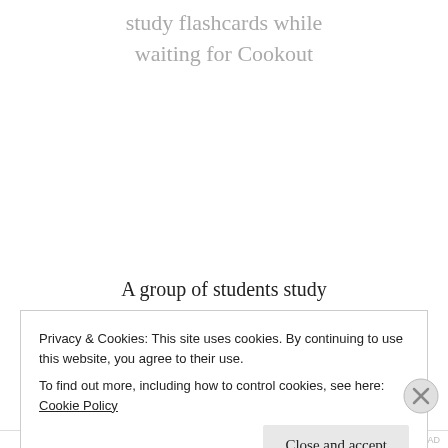study flashcards while waiting for Cookout
A group of students study
Privacy & Cookies: This site uses cookies. By continuing to use this website, you agree to their use.
To find out more, including how to control cookies, see here: Cookie Policy
Close and accept